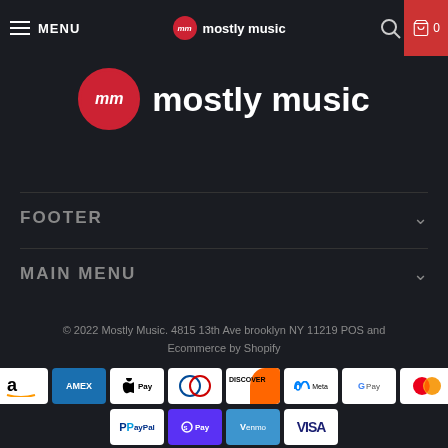MENU | mostly music | search | cart 0
[Figure (logo): Mostly Music logo with red circle containing 'mm' and text 'mostly music']
FOOTER
MAIN MENU
© 2022 Mostly Music. 4815 13th Ave brooklyn NY 11219 POS and Ecommerce by Shopify
[Figure (other): Payment method icons: Amazon, Amex, Apple Pay, Diners Club, Discover, Meta Pay, Google Pay, Mastercard, PayPal, Shop Pay, Venmo, Visa]